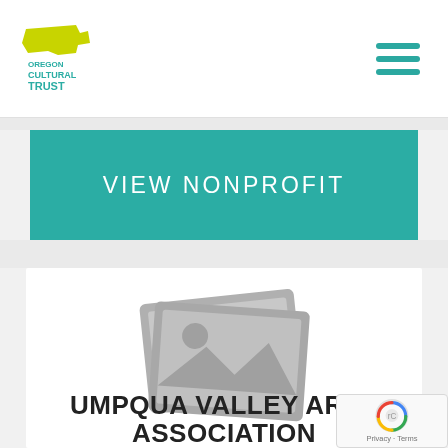Oregon Cultural Trust
VIEW NONPROFIT
[Figure (illustration): Placeholder image icon showing two overlapping photo frames with a sun and mountain landscape silhouette, rendered in gray]
UMPQUA VALLEY ARTS ASSOCIATION